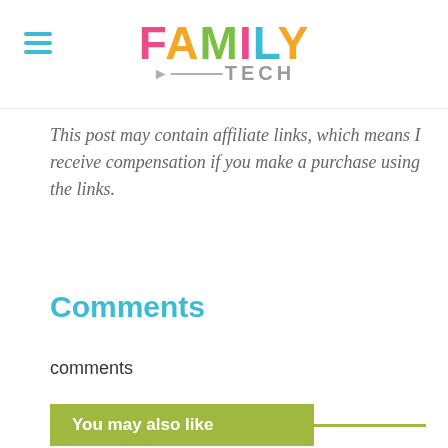[Figure (logo): Family Tech logo with colorful letters and arrow-line-TECH subtitle, plus hamburger menu icon on left]
This post may contain affiliate links, which means I receive compensation if you make a purchase using the links.
Comments
comments
You may also like